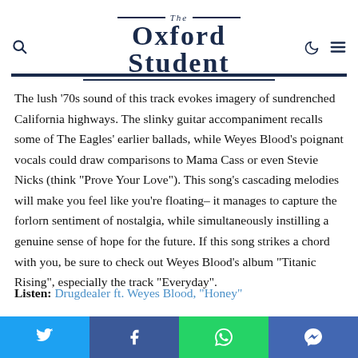The Oxford Student
The lush ‘70s sound of this track evokes imagery of sundrenched California highways. The slinky guitar accompaniment recalls some of The Eagles’ earlier ballads, while Weyes Blood’s poignant vocals could draw comparisons to Mama Cass or even Stevie Nicks (think “Prove Your Love”). This song’s cascading melodies will make you feel like you’re floating– it manages to capture the forlorn sentiment of nostalgia, while simultaneously instilling a genuine sense of hope for the future. If this song strikes a chord with you, be sure to check out Weyes Blood’s album “Titanic Rising”, especially the track “Everyday”.
Listen: Drugdealer ft. Weyes Blood, “Honey”